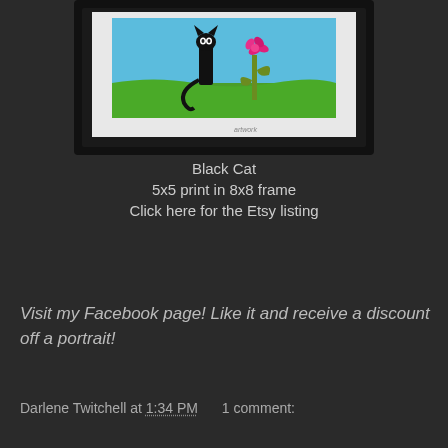[Figure (photo): Framed artwork showing a stylized black cat standing upright on green grass with a blue sky background and colorful plant/flower, in a dark black frame with white mat]
Black Cat
5x5 print in 8x8 frame
Click here for the Etsy listing
Visit my Facebook page! Like it and receive a discount off a portrait!
Darlene Twitchell at 1:34 PM   1 comment: